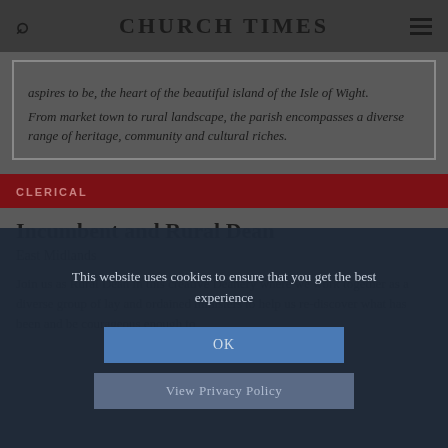CHURCH TIMES
...aspires to be, the heart of the beautiful island of the Isle of Wight. From market town to rural landscape, the parish encompasses a diverse range of heritage, community and cultural riches.
CLERICAL
Incumbent and Rural Dean
East Midlands
Join us as Rural Dean in this creative Deanery where we work together as a diverse group of lay and ordained ministers to help us re-discover what has been and be courageous enough to
This website uses cookies to ensure that you get the best experience
OK
View Privacy Policy